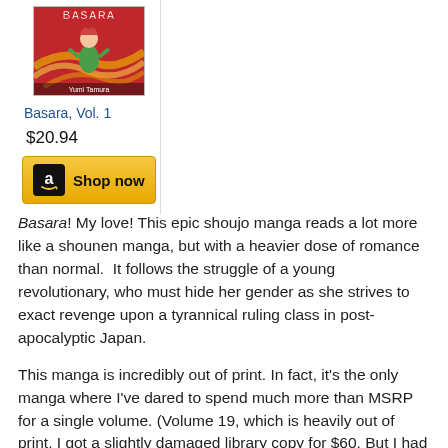[Figure (illustration): Book cover of Basara Vol. 1 manga, showing a character with colorful costume on a red/gold background with stylized title text 'BASARA']
Basara, Vol. 1
$20.94
[Figure (other): Amazon 'Shop now' button with Amazon logo on golden/yellow background]
Basara! My love! This epic shoujo manga reads a lot more like a shounen manga, but with a heavier dose of romance than normal.  It follows the struggle of a young revolutionary, who must hide her gender as she strives to exact revenge upon a tyrannical ruling class in post-apocalyptic Japan.
This manga is incredibly out of print. In fact, it's the only manga where I've dared to spend much more than MSRP for a single volume. (Volume 19, which is heavily out of print. I got a slightly damaged library copy for $60. But I had incredible luck with the rest of the volumes and bought most of them at below MSRP, so it all evens out.)